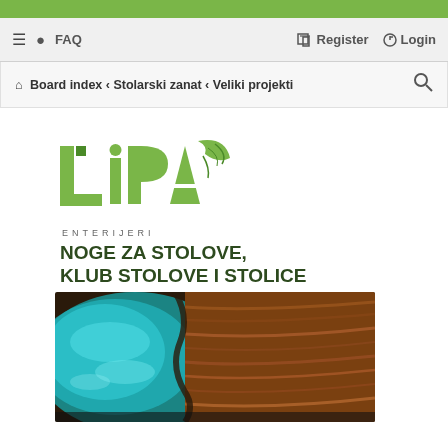≡ FAQ | Register Login
Board index › Stolarski zanat › Veliki projekti
[Figure (logo): LIPA Enterijeri logo with green stylized letters and leaf graphic]
ENTERIJERI
NOGE ZA STOLOVE, KLUB STOLOVE I STOLICE
[Figure (photo): Wood and blue resin river table top, close-up showing wood grain and teal epoxy resin]